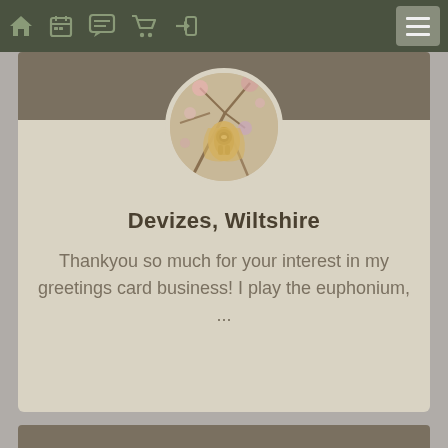Navigation bar with home, calendar, chat, cart, login icons and hamburger menu
[Figure (photo): Circular profile avatar showing a euphonium instrument with decorative floral/botanical background]
Devizes, Wiltshire
Thankyou so much for your interest in my greetings card business! I play the euphonium, ...